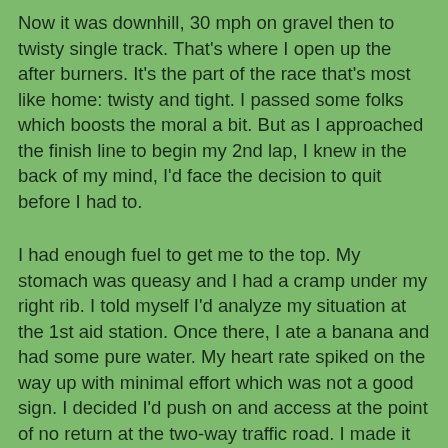Now it was downhill, 30 mph on gravel then to twisty single track. That's where I open up the after burners. It's the part of the race that's most like home: twisty and tight. I passed some folks which boosts the moral a bit. But as I approached the finish line to begin my 2nd lap, I knew in the back of my mind, I'd face the decision to quit before I had to.
I had enough fuel to get me to the top. My stomach was queasy and I had a cramp under my right rib. I told myself I'd analyze my situation at the 1st aid station. Once there, I ate a banana and had some pure water. My heart rate spiked on the way up with minimal effort which was not a good sign. I decided I'd push on and access at the point of no return at the two-way traffic road. I made it up the Iowa Mill climb and was able to take in water (unlike 3 years ago when my digestive function completely stopped) so I thought maybe I;d be ok. Just before I exited the trees at the start of the SB decent, Martin was there taking pics and yelling happy thoughts. I thought to myself, I could just stop here and hang out with him but my bike had a mind of its own and somehow turned down the two-way. Well, I was committed. I